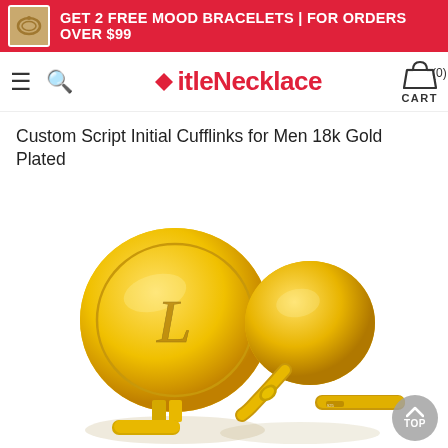[Figure (infographic): Red promotional banner with small product thumbnail image on the left and white bold text: GET 2 FREE MOOD BRACELETS | FOR ORDERS OVER $99]
itleNecklace — navigation bar with hamburger menu, search icon, logo, and cart (0)
Custom Script Initial Cufflinks for Men 18k Gold Plated
[Figure (photo): Two gold-plated round cufflinks with script letter L engraved on one face, shown at an angle on white background with subtle shadow. A circular grey TOP button is in the bottom right corner.]